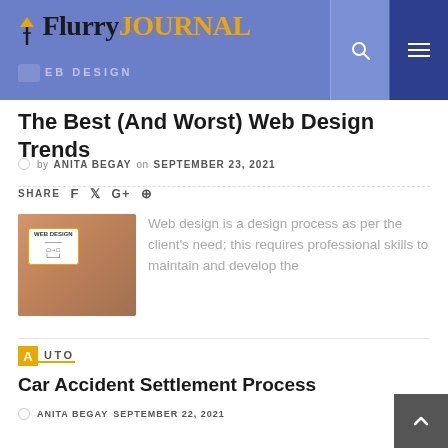[Figure (logo): Flurry Journal logo with pen icon on blue header background]
WEB DESIGN
The Best (And Worst) Web Design Trends
by ANITA BEGAY on SEPTEMBER 23, 2021
SHARE
[Figure (photo): Person typing on laptop with web design diagram on screen]
Web design is a design process as per the client's need; this requires professional skills to maintain and develop the
AUTO
Car Accident Settlement Process
ANITA BEGAY   SEPTEMBER 22, 2021